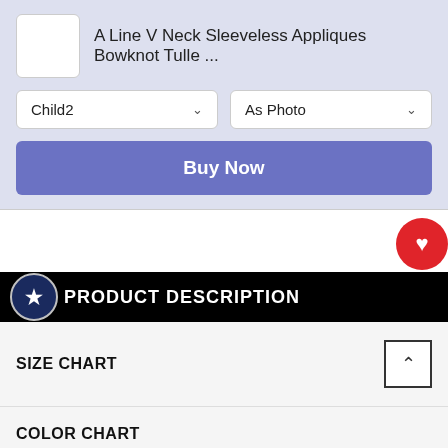A Line V Neck Sleeveless Appliques Bowknot Tulle ...
Child2
As Photo
Buy Now
PRODUCT DESCRIPTION
SIZE CHART
COLOR CHART
HOW TO MEASURE
DELIVERY